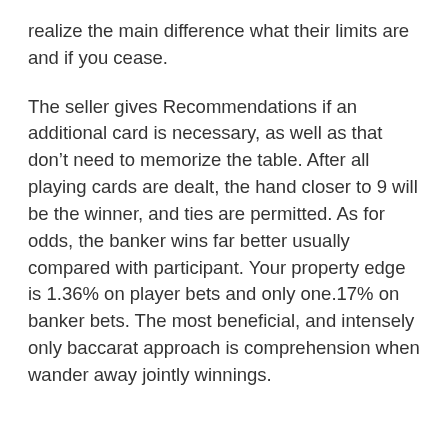realize the main difference what their limits are and if you cease.
The seller gives Recommendations if an additional card is necessary, as well as that don’t need to memorize the table. After all playing cards are dealt, the hand closer to 9 will be the winner, and ties are permitted. As for odds, the banker wins far better usually compared with participant. Your property edge is 1.36% on player bets and only one.17% on banker bets. The most beneficial, and intensely only baccarat approach is comprehension when wander away jointly winnings.